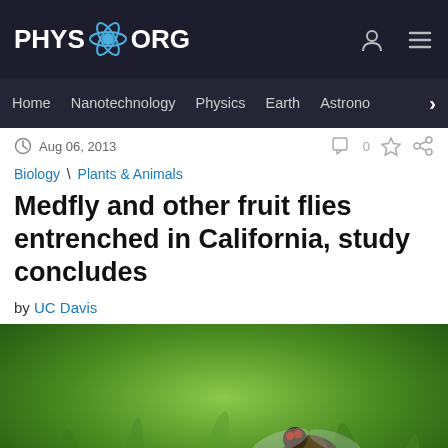PHYS.ORG
Home | Nanotechnology | Physics | Earth | Astronomy
Aug 06, 2013
Biology \ Plants & Animals
Medfly and other fruit flies entrenched in California, study concludes
by UC Davis
[Figure (photo): Close-up macro photo of a fruit fly (medfly) on green foliage background]